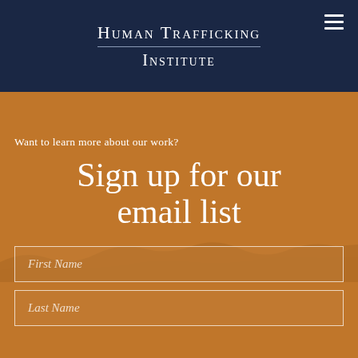Human Trafficking Institute
[Figure (logo): Human Trafficking Institute logo with text on dark navy background]
Want to learn more about our work?
Sign up for our email list
First Name
Last Name